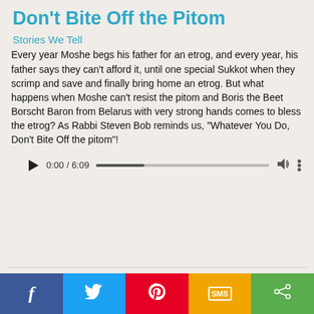Don't Bite Off the Pitom
Stories We Tell
Every year Moshe begs his father for an etrog, and every year, his father says they can't afford it, until one special Sukkot when they scrimp and save and finally bring home an etrog. But what happens when Moshe can't resist the pitom and Boris the Beet Borscht Baron from Belarus with very strong hands comes to bless the etrog? As Rabbi Steven Bob reminds us, “Whatever You Do, Don’t Bite Off the pitom”!
[Figure (other): Audio player widget showing time 0:00 / 6:09 with play button, progress bar, volume icon, and more options icon]